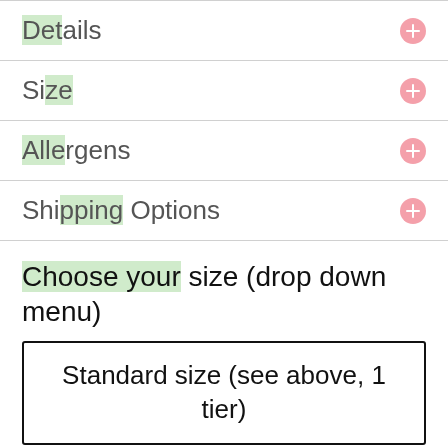Details
Size
Allergens
Shipping Options
Choose your size (drop down menu)
Standard size (see above, 1 tier)